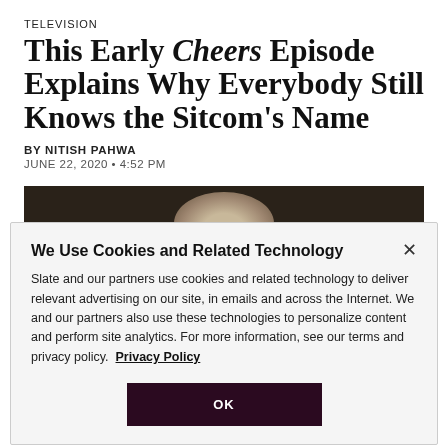TELEVISION
This Early Cheers Episode Explains Why Everybody Still Knows the Sitcom's Name
BY NITISH PAHWA
JUNE 22, 2020 • 4:52 PM
[Figure (photo): Dark photo background with a person's head visible from behind, hair visible, dark background with warm tones.]
We Use Cookies and Related Technology
Slate and our partners use cookies and related technology to deliver relevant advertising on our site, in emails and across the Internet. We and our partners also use these technologies to personalize content and perform site analytics. For more information, see our terms and privacy policy. Privacy Policy
OK